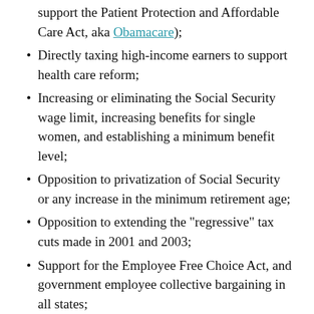support the Patient Protection and Affordable Care Act, aka Obamacare);
Directly taxing high-income earners to support health care reform;
Increasing or eliminating the Social Security wage limit, increasing benefits for single women, and establishing a minimum benefit level;
Opposition to privatization of Social Security or any increase in the minimum retirement age;
Opposition to extending the "regressive" tax cuts made in 2001 and 2003;
Support for the Employee Free Choice Act, and government employee collective bargaining in all states;
Legislation to encourage the creation of more defined-benefit pension programs by employers.
This lobby group, with its ambitious legislative agenda, was indirectly supported with money from Michiganders